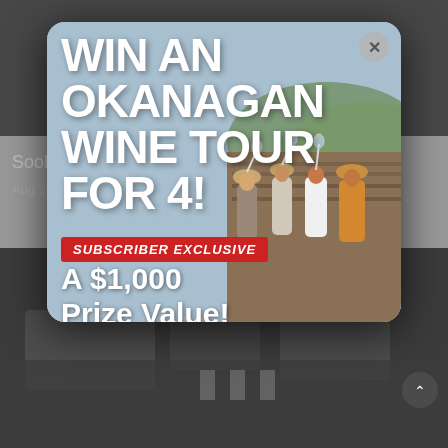[Figure (screenshot): Blurred webpage background showing partial text 'Sook' and 'Aug 22' with a dark road scene below]
[Figure (infographic): Modal popup advertisement for winning an Okanagan Wine Tour for 4, showing a group of four people toasting with wine glasses in a vineyard. Text: WIN AN OKANAGAN WINE TOUR FOR 4! SUBSCRIBER EXCLUSIVE A $1,000 Prize Value! Close button (x) in top right corner.]